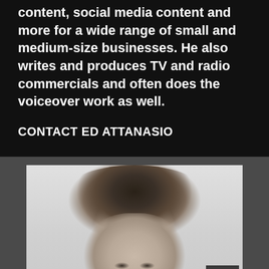content, social media content and more for a wide range of small and medium-size businesses. He also writes and produces TV and radio commercials and often does the voiceover work as well.
CONTACT ED ATTANASIO
[Figure (photo): Black and white headshot portrait of a man with neatly combed dark hair, looking directly at the camera]